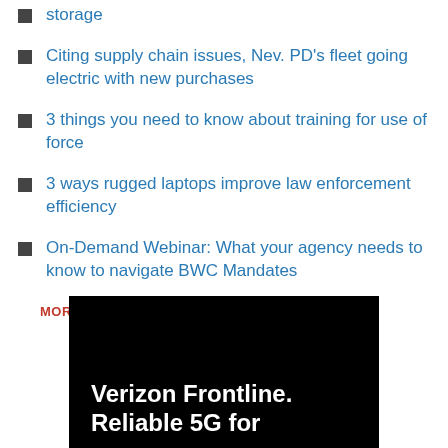storage
Citing supply chain issues, Nev. PD's fleet going electric with new purchases
3 things you need to know about training for use of force
3 ways rugged laptops improve law enforcement efficiency
On-Demand Webinar: What your agency needs to know to navigate BWC Mandates
MORE PRODUCT NEWS >
[Figure (photo): Verizon Frontline advertisement banner with black background showing white bold text: 'Verizon Frontline. Reliable 5G for']